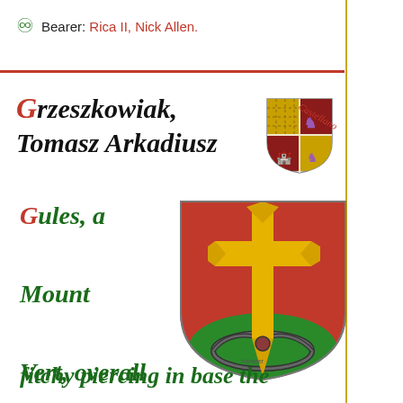Bearer: Rica II, Nick Allen.
Grzeszkowiak, Tomasz Arkadiusz
[Figure (illustration): Small quartered heraldic shield with castellano label rotated]
Gules, a Mount Vert, overall a Cross patty fitchy piercing in base the
[Figure (illustration): Heraldic shield: Gules with a large yellow cross patty fitchy piercing a green mount with a rope knotted around its base]